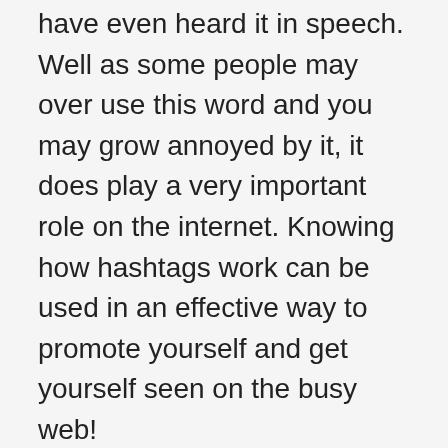have even heard it in speech. Well as some people may over use this word and you may grow annoyed by it, it does play a very important role on the internet. Knowing how hashtags work can be used in an effective way to promote yourself and get yourself seen on the busy web!
So to explain what hashtags are, the are great shortcuts to your favorite communities! There's a lot of ways these are used across all the social media platforms, but we are going to focus on Instagram for this blog post! However, some of the info you see below can be applied to other